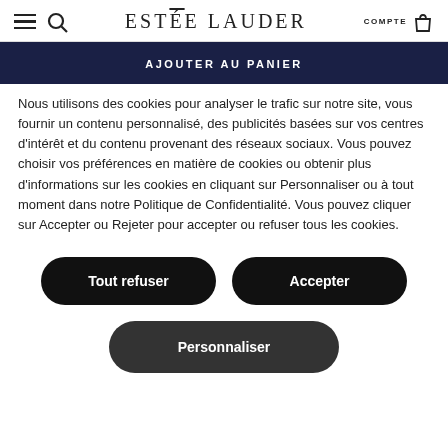ESTÉE LAUDER — COMPTE
AJOUTER AU PANIER
Nous utilisons des cookies pour analyser le trafic sur notre site, vous fournir un contenu personnalisé, des publicités basées sur vos centres d'intérêt et du contenu provenant des réseaux sociaux. Vous pouvez choisir vos préférences en matière de cookies ou obtenir plus d'informations sur les cookies en cliquant sur Personnaliser ou à tout moment dans notre Politique de Confidentialité. Vous pouvez cliquer sur Accepter ou Rejeter pour accepter ou refuser tous les cookies.
Tout refuser
Accepter
Personnaliser